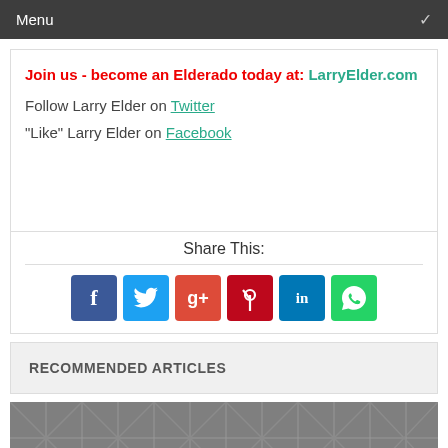Menu
Join us - become an Elderado today at: LarryElder.com
Follow Larry Elder on Twitter
"Like" Larry Elder on Facebook
Share This:
[Figure (infographic): Social share buttons: Facebook, Twitter, Google+, Pinterest, LinkedIn, WhatsApp]
RECOMMENDED ARTICLES
[Figure (photo): Drone grid image, metallic gray mechanical parts in a repeating pattern]